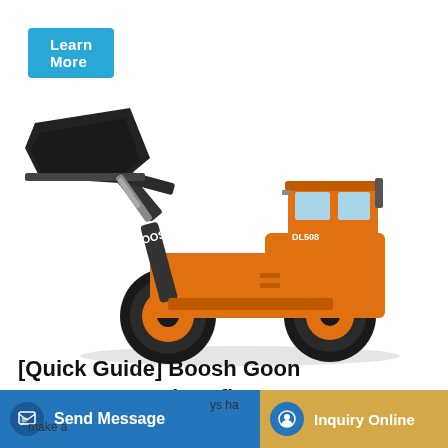Learn More
[Figure (photo): Orange Doosan DL508 wheel loader / excavator with large black bucket raised on the front arm, shown in side profile on white background]
[Quick Guide] Boosh Goon excavators and profit. : Eve
Send Message
Inquiry Online